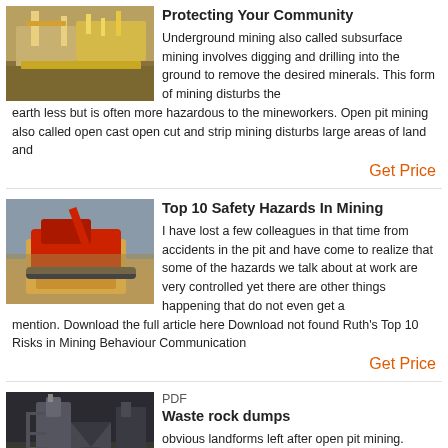[Figure (photo): Aerial view of a mining facility with yellow equipment and conveyor structures]
Protecting Your Community
Underground mining also called subsurface mining involves digging and drilling into the ground to remove the desired minerals. This form of mining disturbs the earth less but is often more hazardous to the mineworkers. Open pit mining also called open cast open cut and strip mining disturbs large areas of land and
Get Price
[Figure (photo): Red excavator/crusher machinery on a pile of rocks at a mining site with cloudy sky]
Top 10 Safety Hazards In Mining
I have lost a few colleagues in that time from accidents in the pit and have come to realize that some of the hazards we talk about at work are very controlled yet there are other things happening that do not even get a mention. Download the full article here Download not found Ruth's Top 10 Risks in Mining Behaviour Communication
Get Price
[Figure (photo): Industrial mining processing plant with large machinery and metal structures against a dark background]
PDF
Waste rock dumps
obvious landforms left after open pit mining. Together with tailings storage facilities they are also the most prone to erosion. For these reasons it is essential that